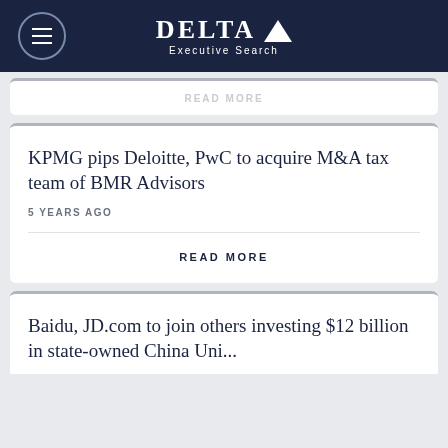Delta Executive Search
READ MORE
KPMG pips Deloitte, PwC to acquire M&A tax team of BMR Advisors
5 YEARS AGO
READ MORE
Baidu, JD.com to join others investing $12 billion in state-owned China Uni...